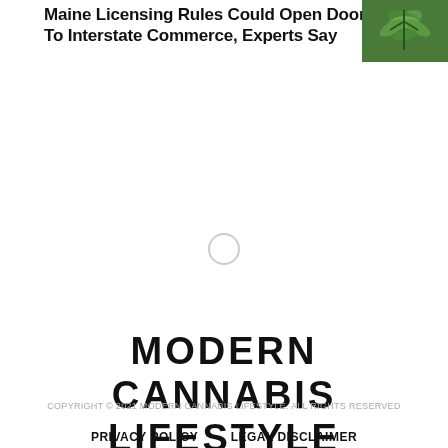Maine Licensing Rules Could Open Door To Interstate Commerce, Experts Say
[Figure (photo): Thumbnail photo of cannabis plant leaves, green tones]
[Figure (other): Loading spinner circle indicator]
MODERN CANNABIS LIFESTYLE
COPYRIGHT © 2021 MODERN CANNABIS LIFESTYLE. ALL RIGHTS RESERVED
PRIVACY POLICY   LEGAL DISCLAIMER